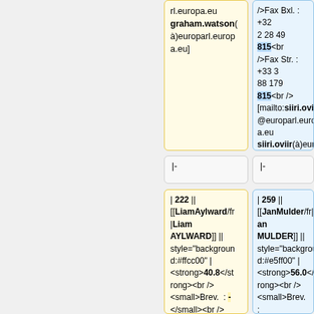rl.europa.eu graham.watson(à)europarl.europa.eu]
/>Fax Bxl. : +32 2 28 49 815<br />Fax Str. : +33 3 88 179 815<br />[mailto:siiri.oviir@europarl.europa.eu siiri.oviir(à)europarl.europa.eu]
|-
|-
| 222 || [[LiamAylward/fr|Liam AYLWARD]] || style="background:#ffcc00" | <strong>40.8</strong><br /><small>Brev. : -</small><br /><small>EPLA : 5.6</small><br /><small>IPRED2 :
| 259 || [[JanMulder/fr|Jan MULDER]] || style="background:#e5ff00" | <strong>56.0</strong><br /><small>Brev. : 24.6</small><br /><small>EPLA : -</small><br /><small>IPRED2 : 21.1</small><br /><small>Bono